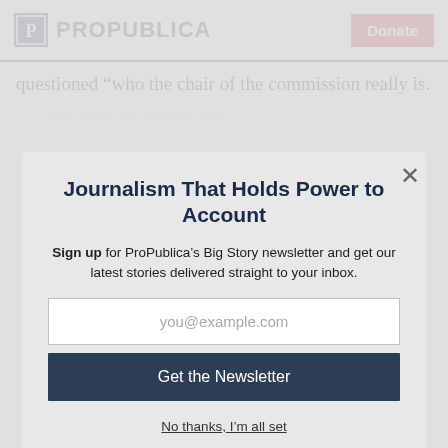ProPublica | Donate
questioned “who the chair of the commission really is.
Journalism That Holds Power to Account
Sign up for ProPublica’s Big Story newsletter and get our latest stories delivered straight to your inbox.
you@example.com
Get the Newsletter
No thanks, I’m all set
This site is protected by reCAPTCHA and the Google Privacy Policy and Terms of Service apply.